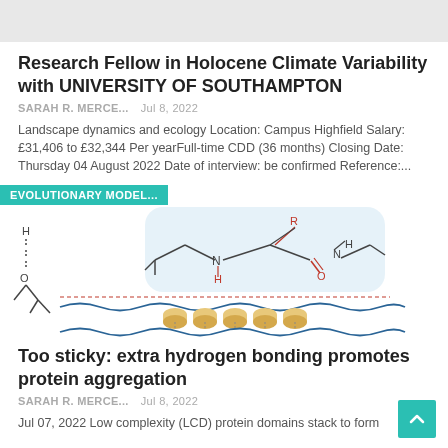[Figure (other): Gray banner/placeholder image at top of page]
Research Fellow in Holocene Climate Variability with UNIVERSITY OF SOUTHAMPTON
SARAH R. MERCE...   Jul 8, 2022
Landscape dynamics and ecology Location: Campus Highfield Salary: £31,406 to £32,344 Per yearFull-time CDD (36 months) Closing Date: Thursday 04 August 2022 Date of interview: be confirmed Reference:...
[Figure (schematic): Chemistry/biology diagram showing protein hydrogen bonding with molecular structure. Label 'EVOLUTIONARY MODEL...' overlays top-left in teal. Shows chemical structure with H, N, O, R groups and membrane illustration with wavy lines and gold cylinders.]
Too sticky: extra hydrogen bonding promotes protein aggregation
SARAH R. MERCE...   Jul 8, 2022
Jul 07, 2022 Low complexity (LCD) protein domains stack to form